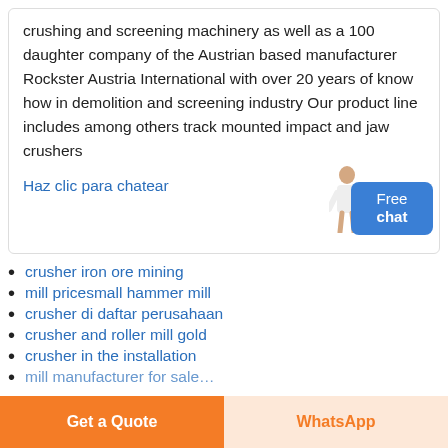crushing and screening machinery as well as a 100 daughter company of the Austrian based manufacturer Rockster Austria International with over 20 years of know how in demolition and screening industry Our product line includes among others track mounted impact and jaw crushers
Haz clic para chatear
crusher iron ore mining
mill pricesmall hammer mill
crusher di daftar perusahaan
crusher and roller mill gold
crusher in the installation
mill manufacturer for sale…
Get a Quote
WhatsApp